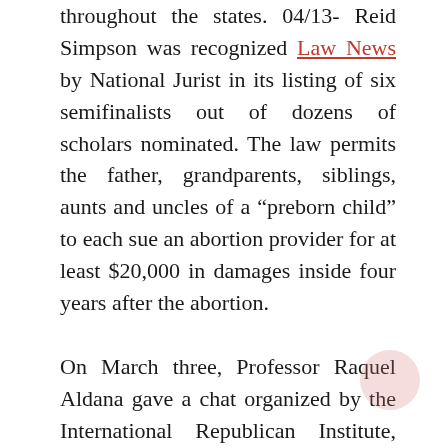throughout the states. 04/13- Reid Simpson was recognized Law News by National Jurist in its listing of six semifinalists out of dozens of scholars nominated. The law permits the father, grandparents, siblings, aunts and uncles of a “preborn child” to each sue an abortion provider for at least $20,000 in damages inside four years after the abortion.
On March three, Professor Raquel Aldana gave a chat organized by the International Republican Institute, Netherlands Institute on Multiparty Democracy, and the National Democratic Institute. Aldana mentioned